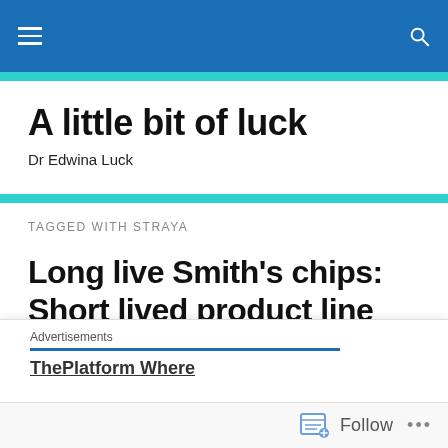A little bit of luck — Dr Edwina Luck
A little bit of luck
Dr Edwina Luck
TAGGED WITH STRAYA
Long live Smith's chips: Short lived product line extensions, long term gains
Advertisements
ThePlatform Where